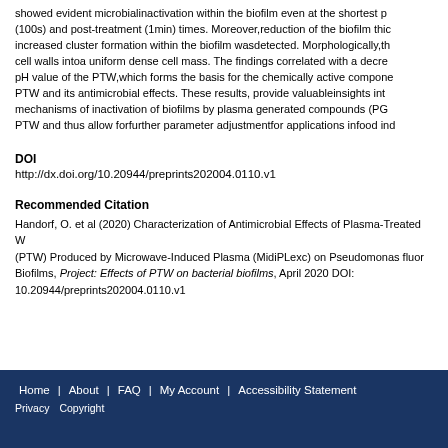showed evident microbialinactivation within the biofilm even at the shortest pre-(100s) and post-treatment (1min) times. Moreover,reduction of the biofilm thickness,increased cluster formation within the biofilm wasdetected. Morphologically,the cell walls intoa uniform dense cell mass. The findings correlated with a decreased pH value of the PTW,which forms the basis for the chemically active component of PTW and its antimicrobial effects. These results, provide valuableinsights into the mechanisms of inactivation of biofilms by plasma generated compounds (PGC) of PTW and thus allow forfurther parameter adjustmentfor applications infood ind
DOI
http://dx.doi.org/10.20944/preprints202004.0110.v1
Recommended Citation
Handorf, O. et al (2020) Characterization of Antimicrobial Effects of Plasma-Treated Water (PTW) Produced by Microwave-Induced Plasma (MidiPLexc) on Pseudomonas fluorescens Biofilms, Project: Effects of PTW on bacterial biofilms, April 2020 DOI: 10.20944/preprints202004.0110.v1
Home | About | FAQ | My Account | Accessibility Statement Privacy Copyright